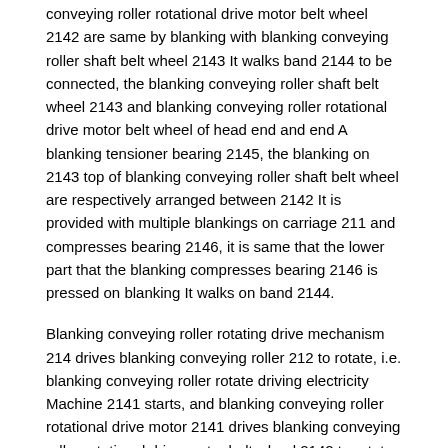conveying roller rotational drive motor belt wheel 2142 are same by blanking with blanking conveying roller shaft belt wheel 2143 It walks band 2144 to be connected, the blanking conveying roller shaft belt wheel 2143 and blanking conveying roller rotational drive motor belt wheel of head end and end A blanking tensioner bearing 2145, the blanking on 2143 top of blanking conveying roller shaft belt wheel are respectively arranged between 2142 It is provided with multiple blankings on carriage 211 and compresses bearing 2146, it is same that the lower part that the blanking compresses bearing 2146 is pressed on blanking It walks on band 2144.
Blanking conveying roller rotating drive mechanism 214 drives blanking conveying roller 212 to rotate, i.e. blanking conveying roller rotate driving electricity Machine 2141 starts, and blanking conveying roller rotational drive motor 2141 drives blanking conveying roller rotational drive motor belt wheel 2142 to rotate, Blanking conveying roller rotational drive motor belt wheel 2142 successively drives multiple blanking conveying roller shaft bands by blanking synchronous belt 2144 2143 rotation of wheel, to drive coupled blanking conveying roller shaft 213 and blanking conveying roller 212 to rotate, to realize work The